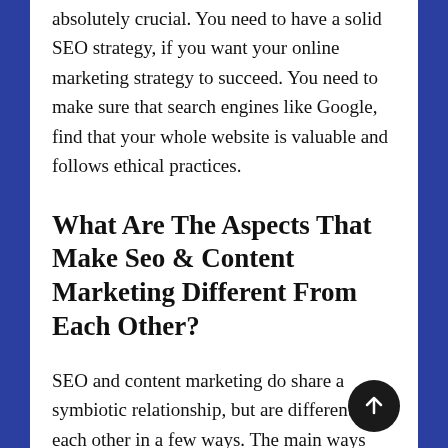absolutely crucial. You need to have a solid SEO strategy, if you want your online marketing strategy to succeed. You need to make sure that search engines like Google, find that your whole website is valuable and follows ethical practices.
What Are The Aspects That Make Seo & Content Marketing Different From Each Other?
SEO and content marketing do share a symbiotic relationship, but are different from each other in a few ways. The main ways that these two can be called different from each other is in the following way:
1. SEO is supposed to be technical and narrow